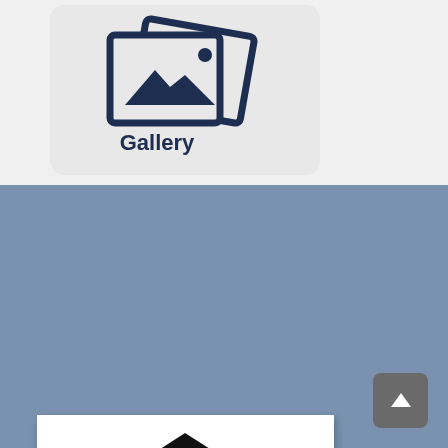[Figure (illustration): Gallery app icon with two overlapping image frames, mountain/sun photo icon inside, labeled 'Gallery' in bold dark navy text below]
[Figure (logo): History Museums logo: black triangle roof/pediment above bold outlined text reading 'HISTORY MUSEUMS' with horizontal black bars forming steps at the bottom, on white background]
[Figure (logo): Circular official seal with colorful sun burst and book/building design in the center, partial view at bottom of page]